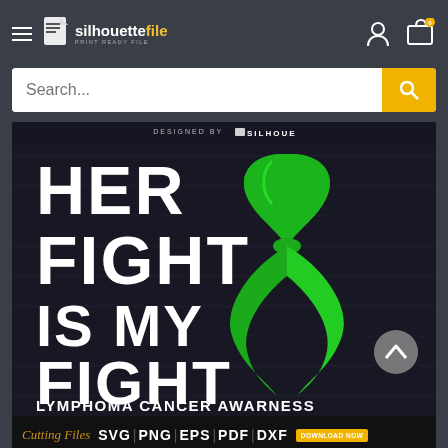silhouettefile - PRINT READY FILE
[Figure (screenshot): Website screenshot showing silhouettefile.com with search bar and product image. Product shows 'HER FIGHT IS MY FIGHT LYMPHOMA CANCER AWARNESS' with a green awareness ribbon on dark background. Bottom bar shows file types: SVG | PNG | EPS | PDF | DXF]
DESIGNED BY silhouettefile PRINT READY FILE
HER FIGHT IS MY FIGHT LYMPHOMA CANCER AWARNESS
Cutting Files SVG | PNG | EPS | PDF | DXF